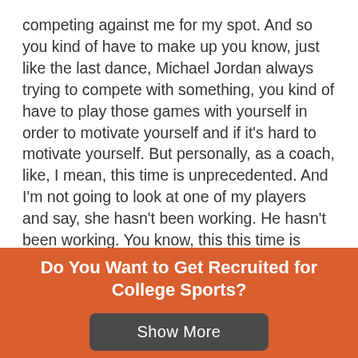competing against me for my spot. And so you kind of have to make up you know, just like the last dance, Michael Jordan always trying to compete with something, you kind of have to play those games with yourself in order to motivate yourself and if it's hard to motivate yourself. But personally, as a coach, like, I mean, this time is unprecedented. And I'm not going to look at one of my players and say, she hasn't been working. He hasn't been working. You know, this this time is unlike anything we've ever seen that I think that there. There's going to be in there should be a bit of forgiveness and empathy with the players right now with you know, this isn't Normal and so, yes, do the best you can and got home but, and and work hard at
Do You Want to Get Recruited for College Sports?
Show More